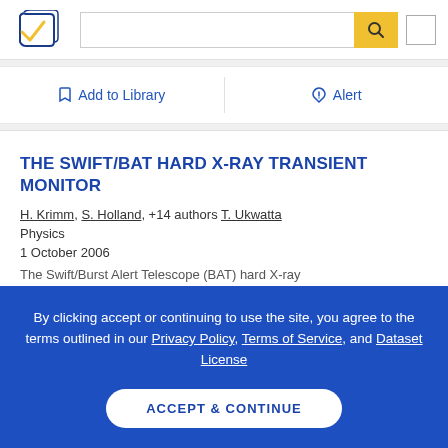[Figure (logo): Semantic Scholar logo - stylized open book pages with blue and gold colors]
THE SWIFT/BAT HARD X-RAY TRANSIENT MONITOR
H. Krimm, S. Holland,  +14 authors  T. Ukwatta
Physics
1 October 2006
The Swift/Burst Alert Telescope (BAT) hard X-ray
By clicking accept or continuing to use the site, you agree to the terms outlined in our Privacy Policy, Terms of Service, and Dataset License
ACCEPT & CONTINUE